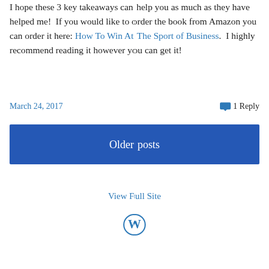I hope these 3 key takeaways can help you as much as they have helped me!  If you would like to order the book from Amazon you can order it here: How To Win At The Sport of Business.  I highly recommend reading it however you can get it!
March 24, 2017
1 Reply
Older posts
View Full Site
[Figure (logo): WordPress logo (circle W)]